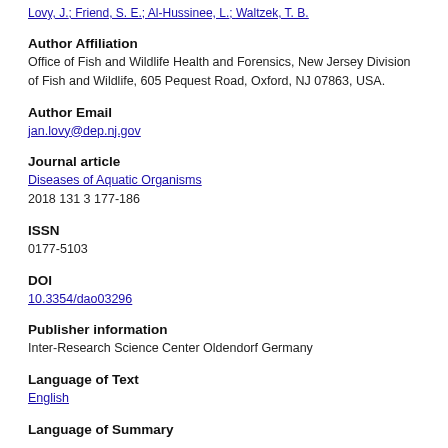Lovy, J.; Friend, S. E.; Al-Hussinee, L.; Waltzek, T. B.
Author Affiliation
Office of Fish and Wildlife Health and Forensics, New Jersey Division of Fish and Wildlife, 605 Pequest Road, Oxford, NJ 07863, USA.
Author Email
jan.lovy@dep.nj.gov
Journal article
Diseases of Aquatic Organisms
2018 131 3 177-186
ISSN
0177-5103
DOI
10.3354/dao03296
Publisher information
Inter-Research Science Center Oldendorf Germany
Language of Text
English
Language of Summary